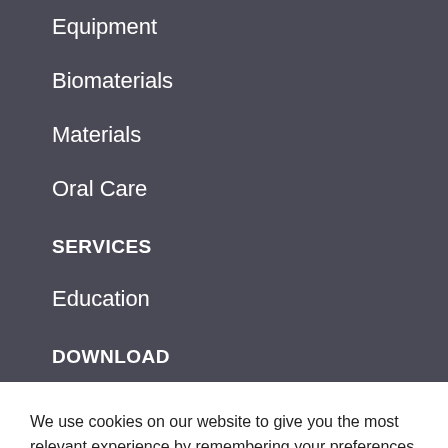Equipment
Biomaterials
Materials
Oral Care
SERVICES
Education
DOWNLOAD
We use cookies on our website to give you the most relevant experience by remembering your preferences and repeat visits. By clicking “Accept All”, you consent to the use of ALL the cookies. However, you may visit "Cookie Settings" to provide a controlled consent.
Cookie Settings | Accept All